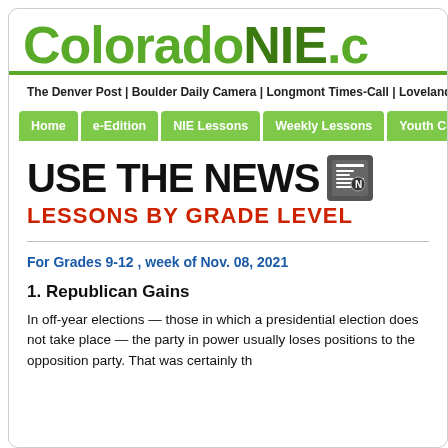[Figure (logo): ColoradoNIE.com website logo in green text, large bold font]
The Denver Post | Boulder Daily Camera | Longmont Times-Call | Loveland R
[Figure (screenshot): Navigation bar with green buttons: Home, e-Edition, NIE Lessons, Weekly Lessons, Youth Content]
[Figure (logo): USE THE NEWS banner with newspaper icon and subtitle LESSONS BY GRADE LEVEL in red]
For Grades 9-12 , week of Nov. 08, 2021
1. Republican Gains
In off-year elections — those in which a presidential election does not take place — the party in power usually loses positions to the opposition party. That was certainly th